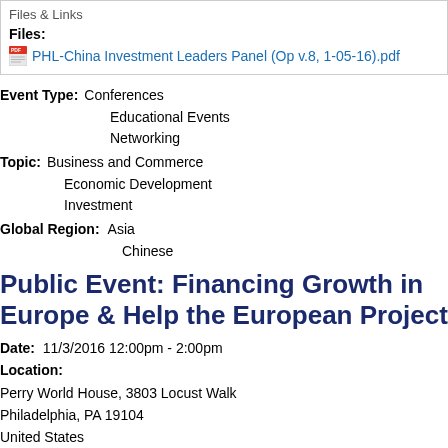Files & Links
Files:
PHL-China Investment Leaders Panel (Op v.8, 1-05-16).pdf
Event Type: Conferences
Educational Events
Networking
Topic: Business and Commerce
Economic Development
Investment
Global Region: Asia
Chinese
Public Event: Financing Growth in Europe - Help the European Project
Date: 11/3/2016 12:00pm - 2:00pm
Location:
Perry World House, 3803 Locust Walk
Philadelphia, PA 19104
United States
See map: Google Maps
Website: http://www.atlanticcouncil.org/events/up...
Please join the Atlantic Council and the Perry World House at the University of conversation on how to jump-start economic growth in Europe on November 3 at the European Commission's Directorate-General for Financial Stability Fina...